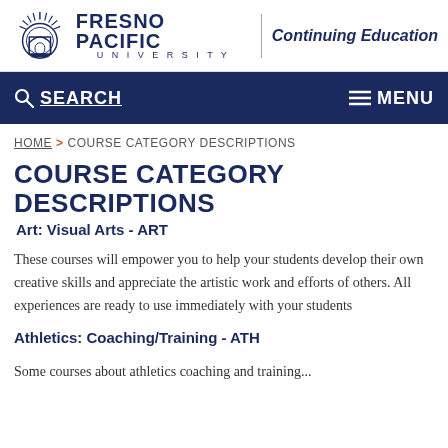[Figure (logo): Fresno Pacific University logo with sunburst emblem and text, plus Continuing Education wordmark]
SEARCH   MENU
HOME > COURSE CATEGORY DESCRIPTIONS
COURSE CATEGORY DESCRIPTIONS
Art: Visual Arts - ART
These courses will empower you to help your students develop their own creative skills and appreciate the artistic work and efforts of others. All experiences are ready to use immediately with your students
Athletics: Coaching/Training - ATH
Some text about athletics courses beginning at bottom of page